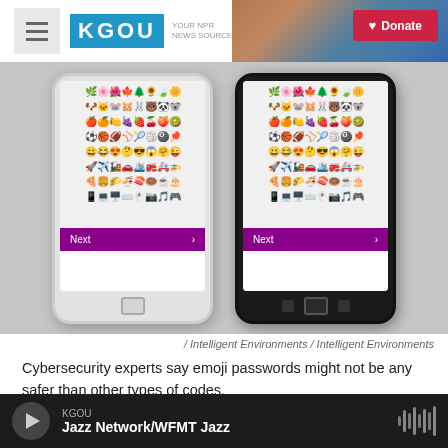KGOU | News Source | Donate
[Figure (photo): Two smartphones (one white, one black) displaying emoji keyboard screens with a purple 'Next' button at the bottom of each screen.]
/ Intelligent Environments / Intelligent Environments
Cybersecurity experts say emoji passwords might not be any safer than other types of codes.
But not everyone thinks emoji passwords are that
KGOU | Jazz Network/WFMT Jazz